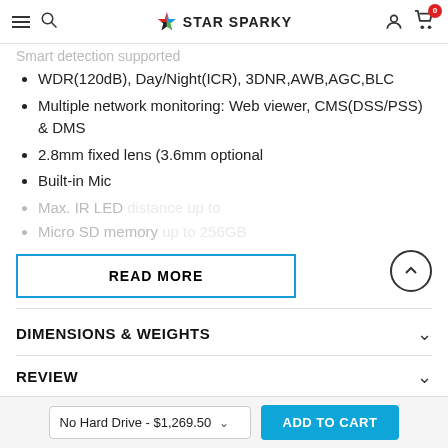STAR SPARKY
Smart detection supported
WDR(120dB), Day/Night(ICR), 3DNR,AWB,AGC,BLC
Multiple network monitoring: Web viewer, CMS(DSS/PSS) & DMS
2.8mm fixed lens (3.6mm optional
Built-in Mic
Max. IR LED...
Micro SD memory...
DIMENSIONS & WEIGHTS
REVIEW
No Hard Drive - $1,269.50  ADD TO CART